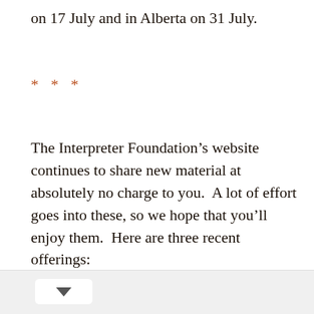on 17 July and in Alberta on 31 July.
* * *
The Interpreter Foundation’s website continues to share new material at absolutely no charge to you.  A lot of effort goes into these, so we hope that you’ll enjoy them.  Here are three recent offerings: